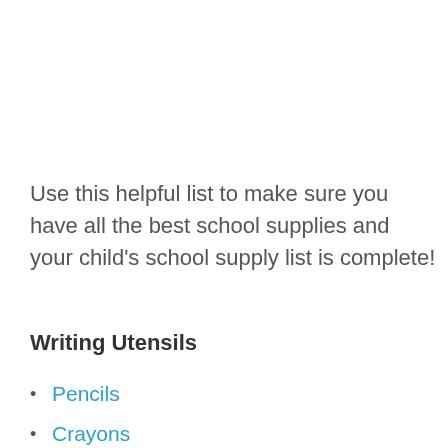Use this helpful list to make sure you have all the best school supplies and your child's school supply list is complete!
Writing Utensils
Pencils
Crayons